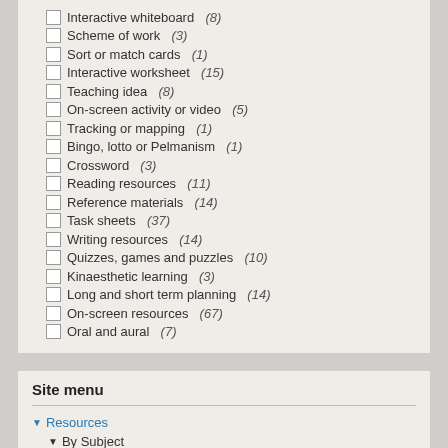Interactive whiteboard (8)
Scheme of work (3)
Sort or match cards (1)
Interactive worksheet (15)
Teaching idea (8)
On-screen activity or video (5)
Tracking or mapping (1)
Bingo, lotto or Pelmanism (1)
Crossword (3)
Reading resources (11)
Reference materials (14)
Task sheets (37)
Writing resources (14)
Quizzes, games and puzzles (10)
Kinaesthetic learning (3)
Long and short term planning (14)
On-screen resources (67)
Oral and aural (7)
Site menu
Resources
By Subject